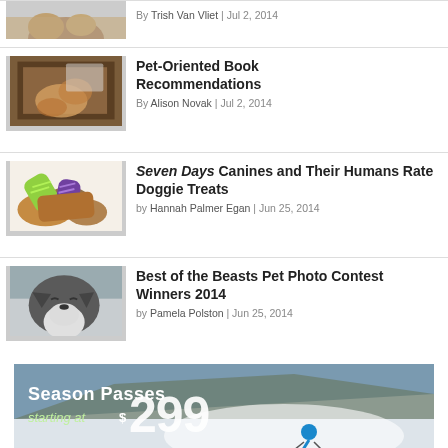[Figure (photo): Saint Bernard dog photo thumbnail (partial, top cropped)]
By Trish Van Vliet | Jul 2, 2014
[Figure (photo): Pet-oriented book cover thumbnail showing a puppy]
Pet-Oriented Book Recommendations
By Alison Novak | Jul 2, 2014
[Figure (photo): Colorful dog biscuit treats thumbnail]
Seven Days Canines and Their Humans Rate Doggie Treats
by Hannah Palmer Egan | Jun 25, 2014
[Figure (photo): Boston Terrier puppy photo thumbnail]
Best of the Beasts Pet Photo Contest Winners 2014
by Pamela Polston | Jun 25, 2014
[Figure (photo): Advertisement banner: Season Passes starting at $299, showing a skier on a snowy slope]